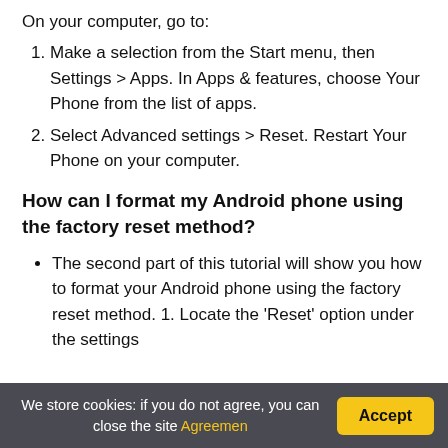On your computer, go to:
Make a selection from the Start menu, then Settings > Apps. In Apps & features, choose Your Phone from the list of apps.
Select Advanced settings > Reset. Restart Your Phone on your computer.
How can I format my Android phone using the factory reset method?
The second part of this tutorial will show you how to format your Android phone using the factory reset method. 1. Locate the 'Reset' option under the settings
We store cookies: if you do not agree, you can close the site Agreemen